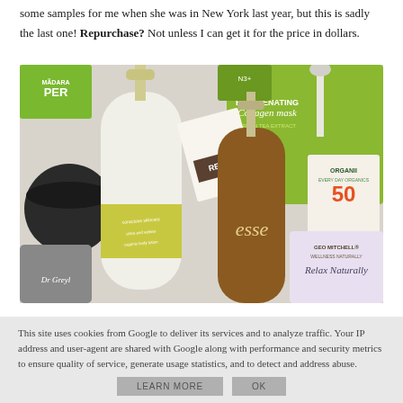some samples for me when she was in New York last year, but this is sadly the last one! Repurchase? Not unless I can get it for the price in dollars.
[Figure (photo): Flat lay photograph of various skincare and organic beauty products including: MADARA product, conscious skincare body lotion, esse serum in amber bottle, Rejuvenating Collagen Mask with green tea extract, Organii Everyday Organics SPF 50, Geo Mitchell Wellness Naturally Relax Naturally product, REN product, and other skincare items arranged on a white background.]
This site uses cookies from Google to deliver its services and to analyze traffic. Your IP address and user-agent are shared with Google along with performance and security metrics to ensure quality of service, generate usage statistics, and to detect and address abuse.